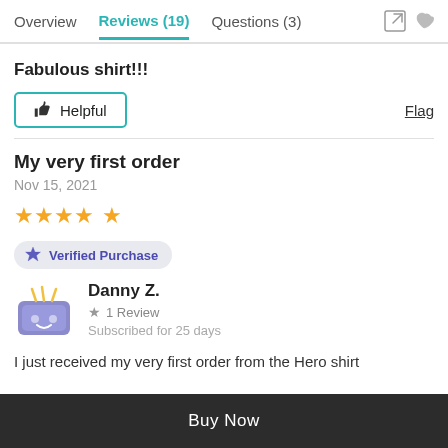Overview | Reviews (19) | Questions (3)
Fabulous shirt!!!
Helpful | Flag
My very first order
Nov 15, 2021
[Figure (other): 4 gold stars rating]
Verified Purchase
Danny Z. — 1 Review — Subscribed for 25 days
I just received my very first order from the Hero shirt
Buy Now